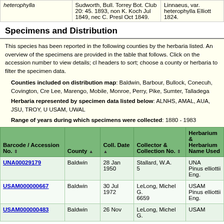|  |  |  |
| --- | --- | --- |
| heterophylla | Sudworth, Bull. Torrey Bot. Club 20: 45. 1893, non K. Koch Jul 1849, nec C. Presl Oct 1849. | Linnaeus, var. heterophylla Elliott 1824. |
Specimens and Distribution
This species has been reported in the following counties by the herbaria listed. An overview of the specimens are provided in the table that follows. Click on the accession number to view details; cl headers to sort; choose a county or herbaria to filter the specimen data.
Counties included on distribution map: Baldwin, Barbour, Bullock, Conecuh, Covington, Cre Lee, Marengo, Mobile, Monroe, Perry, Pike, Sumter, Talladega
Herbaria represented by specimen data listed below: ALNHS, AMAL, AUA, JSU, TROY, U USAM, UWAL
Range of years during which specimens were collected: 1880 - 1983
| Barcode / Accession No. | County | Coll. Date | Collector & Collection No. | Herbarium & Herbarium Name Used |
| --- | --- | --- | --- | --- |
| UNA00029179 | Baldwin | 28 Jan 1950 | Stallard, W.A. 5 | UNA Pinus elliottii Eng. |
| USAM000000667 | Baldwin | 30 Jul 1972 | LeLong, Michel G. 6659 | USAM Pinus elliottii Eng. |
| USAM000000483 | Baldwin | 26 Nov | LeLong, Michel G. | USAM |